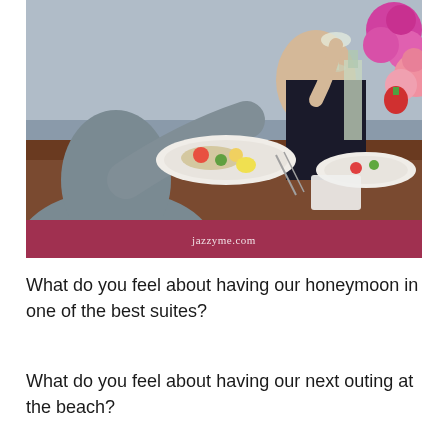[Figure (photo): Two people dining at a restaurant table. A person in a gray jacket is in the foreground, a woman in a dark top holding a wine glass is across the table. The table has plates of food, a bottle of wine, and pink flowers. A watermark bar at the bottom reads jazzyme.com.]
What do you feel about having our honeymoon in one of the best suites?
What do you feel about having our next outing at the beach?